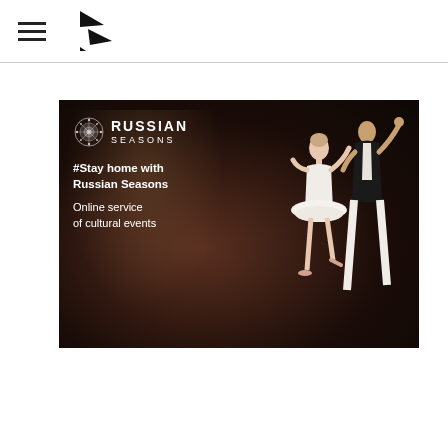[Figure (logo): Hamburger menu icon (three horizontal lines) and a geometric arrow/flag logo mark in the page header]
[Figure (photo): Russian Seasons promotional banner with dark theatrical background, snowflake logo, text '#Stay home with Russian Seasons / Online service of cultural events', and two ballet dancers (ballerina in white tutu and male dancer in dark suit) on the right side]